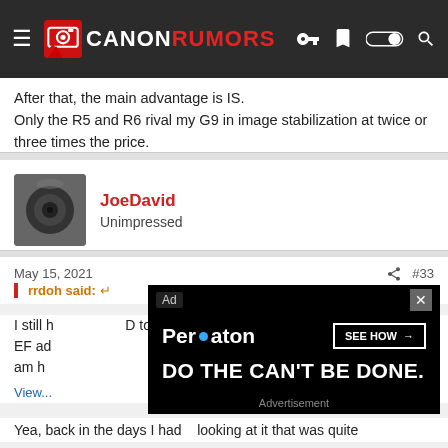Canon Rumors
After that, the main advantage is IS.
Only the R5 and R6 rival my G9 in image stabilization at twice or three times the price.
[Figure (photo): User avatar thumbnail showing a camera lens, for user JoeDavid]
JoeDavid
Unimpressed
May 15, 2021   #33
rrdoh said:
I still h... D to EF ad... but am h...
[Figure (screenshot): Advertisement overlay: Peraton - DO THE CAN'T BE DONE. SEE HOW button. Ad label and close button visible.]
Yea, back in the days I had... looking at it that was quite